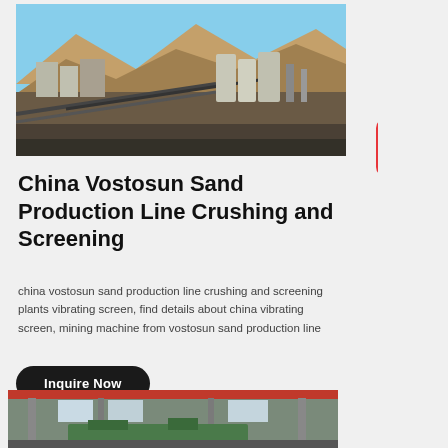[Figure (photo): Aerial/wide view of an industrial sand production plant with conveyors, silos, and processing equipment set against a desert mountain backdrop under blue sky]
China Vostosun Sand Production Line Crushing and Screening
china vostosun sand production line crushing and screening plants vibrating screen, find details about china vibrating screen, mining machine from vostosun sand production line
Inquire Now
[Figure (photo): Interior of an industrial factory/workshop with large green machinery, red overhead crane, and structural steel framework]